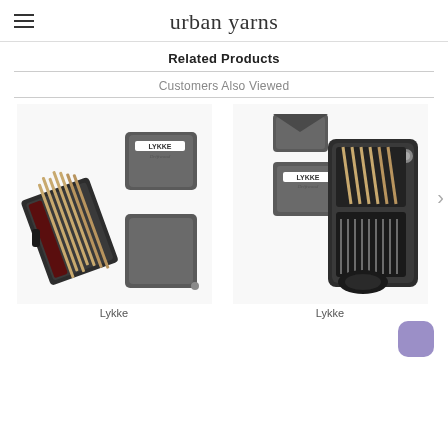urban yarns
Related Products
Customers Also Viewed
[Figure (photo): Lykke knitting needle set in dark grey case, showing needles and closed case]
Lykke
[Figure (photo): Lykke interchangeable knitting needle set in dark grey roll case, open showing needles]
Lykke